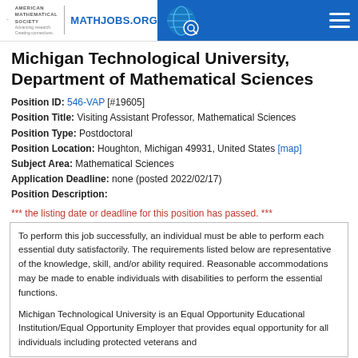AMS AMERICAN MATHEMATICAL SOCIETY | MATHJOBS.ORG
Michigan Technological University, Department of Mathematical Sciences
Position ID: 546-VAP [#19605]
Position Title: Visiting Assistant Professor, Mathematical Sciences
Position Type: Postdoctoral
Position Location: Houghton, Michigan 49931, United States [map]
Subject Area: Mathematical Sciences
Application Deadline: none (posted 2022/02/17)
Position Description:
*** the listing date or deadline for this position has passed. ***
To perform this job successfully, an individual must be able to perform each essential duty satisfactorily. The requirements listed below are representative of the knowledge, skill, and/or ability required. Reasonable accommodations may be made to enable individuals with disabilities to perform the essential functions.

Michigan Technological University is an Equal Opportunity Educational Institution/Equal Opportunity Employer that provides equal opportunity for all individuals including protected veterans and